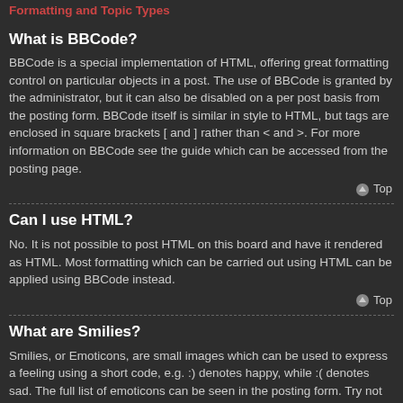Formatting and Topic Types
What is BBCode?
BBCode is a special implementation of HTML, offering great formatting control on particular objects in a post. The use of BBCode is granted by the administrator, but it can also be disabled on a per post basis from the posting form. BBCode itself is similar in style to HTML, but tags are enclosed in square brackets [ and ] rather than < and >. For more information on BBCode see the guide which can be accessed from the posting page.
⬆ Top
Can I use HTML?
No. It is not possible to post HTML on this board and have it rendered as HTML. Most formatting which can be carried out using HTML can be applied using BBCode instead.
⬆ Top
What are Smilies?
Smilies, or Emoticons, are small images which can be used to express a feeling using a short code, e.g. :) denotes happy, while :( denotes sad. The full list of emoticons can be seen in the posting form. Try not to overuse smilies, however, as they can quickly render a post unreadable and a moderator may edit them out or remove the post altogether. The board